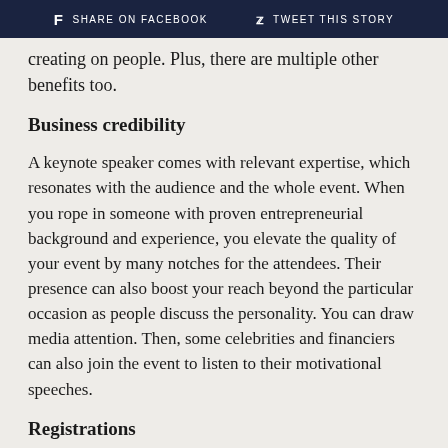f SHARE ON FACEBOOK   ᵔ TWEET THIS STORY
creating on people. Plus, there are multiple other benefits too.
Business credibility
A keynote speaker comes with relevant expertise, which resonates with the audience and the whole event. When you rope in someone with proven entrepreneurial background and experience, you elevate the quality of your event by many notches for the attendees. Their presence can also boost your reach beyond the particular occasion as people discuss the personality. You can draw media attention. Then, some celebrities and financiers can also join the event to listen to their motivational speeches.
Registrations
A motivational speaker with leadership traits can